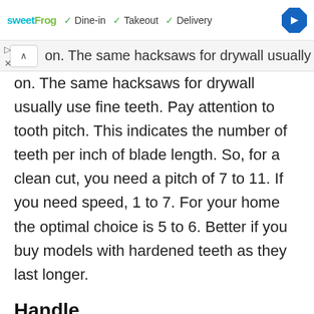[Figure (screenshot): Ad bar with sweetFrog logo and Dine-in, Takeout, Delivery checkmarks and navigation diamond icon]
on. The same hacksaws for drywall usually use fine teeth. Pay attention to tooth pitch. This indicates the number of teeth per inch of blade length. So, for a clean cut, you need a pitch of 7 to 11. If you need speed, 1 to 7. For your home the optimal choice is 5 to 6. Better if you buy models with hardened teeth as they last longer.
Handle
The most important thing is for it to be comfortable. Try the hacksaw in your hand